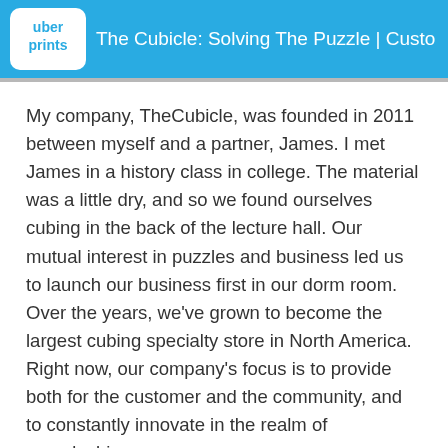The Cubicle: Solving The Puzzle | Custo
My company, TheCubicle, was founded in 2011 between myself and a partner, James. I met James in a history class in college. The material was a little dry, and so we found ourselves cubing in the back of the lecture hall. Our mutual interest in puzzles and business led us to launch our business first in our dorm room. Over the years, we've grown to become the largest cubing specialty store in North America. Right now, our company's focus is to provide both for the customer and the community, and to constantly innovate in the realm of speedcubing.